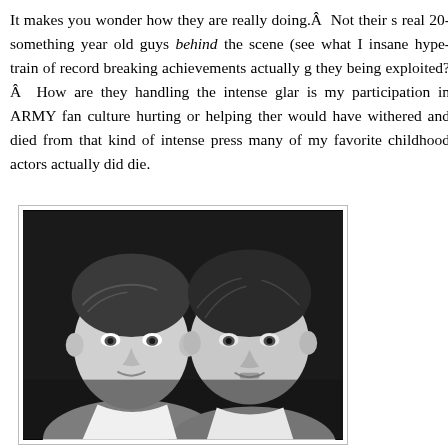It makes you wonder how they are really doing.Â  Not their s real 20-something year old guys behind the scene (see what I insane hype-train of record breaking achievements actually g they being exploited?Â  How are they handling the intense glar is my participation in ARMY fan culture hurting or helping ther would have withered and died from that kind of intense press many of my favorite childhood actors actually did die.
[Figure (photo): Black and white photograph of two young boys, likely child actors, posing together. Both have short hair typical of the 1980s/1990s styling.]